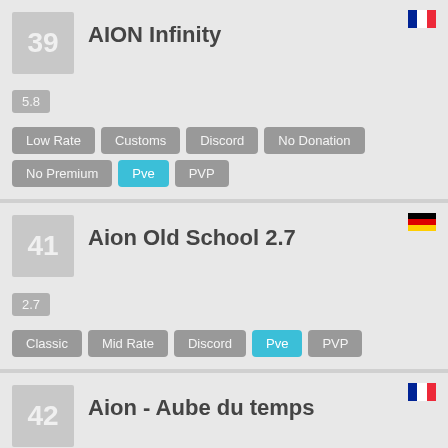39 - AION Infinity, version 5.8, tags: Low Rate, Customs, Discord, No Donation, No Premium, Pve, PVP, language: French
41 - Aion Old School 2.7, version 2.7, tags: Classic, Mid Rate, Discord, Pve, PVP, language: German
42 - Aion - Aube du temps, language: French